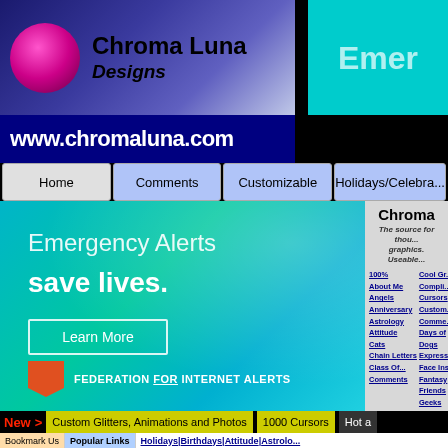[Figure (screenshot): Chroma Luna Designs logo with pink circle, gradient background, and text 'Chroma Luna Designs']
[Figure (screenshot): Teal/cyan Emergency Alerts box partially visible top right]
www.chromaluna.com
Home
Comments
Customizable
Holidays/Celebrations
[Figure (screenshot): Emergency Alerts save lives advertisement banner with 'Learn More' button and Federation for Internet Alerts logo]
Chroma (Luna)
The source for thousands of graphics. Useable...
100%
Cool Gr...
About Me
Compli...
Angels
Cursors
Anniversary
Custom...
Astrology
Comme...
Attitude
Days of
Cats
Dogs
Chain Letters
Express...
Class Of...
Face Ins...
Comments
Fantasy
Friends
Geeks
New > Custom Glitters, Animations and Photos | 1000 Cursors | Hot a...
Bookmark Us | Popular Links | Holidays | Birthdays | Attitude | Astrolo...